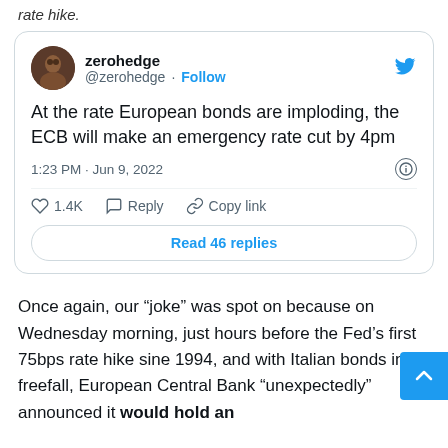rate hike.
[Figure (screenshot): Embedded tweet from @zerohedge reading: 'At the rate European bonds are imploding, the ECB will make an emergency rate cut by 4pm' posted at 1:23 PM · Jun 9, 2022 with 1.4K likes, Reply and Copy link actions, and a 'Read 46 replies' button.]
Once again, our “joke” was spot on because on Wednesday morning, just hours before the Fed’s first 75bps rate hike sine 1994, and with Italian bonds in freefall, European Central Bank “unexpectedly” announced it would hold an